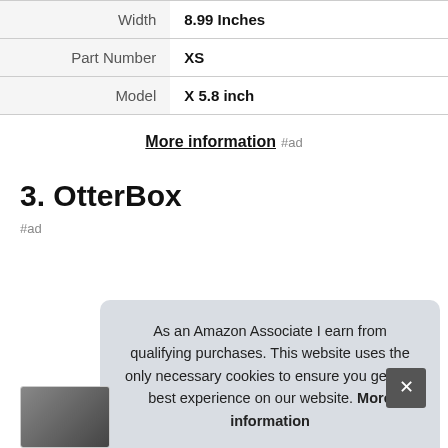| Attribute | Value |
| --- | --- |
| Width | 8.99 Inches |
| Part Number | XS |
| Model | X 5.8 inch |
More information #ad
3. OtterBox
#ad
As an Amazon Associate I earn from qualifying purchases. This website uses the only necessary cookies to ensure you get the best experience on our website. More information